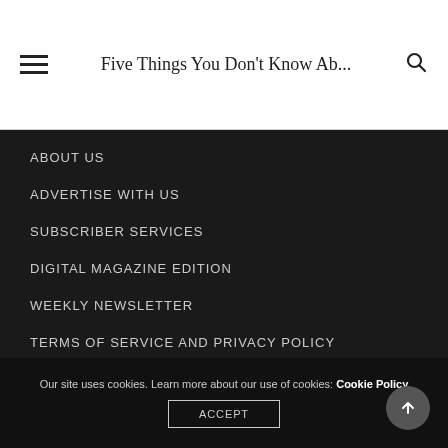Five Things You Don't Know Ab...
ABOUT US
ADVERTISE WITH US
SUBSCRIBER SERVICES
DIGITAL MAGAZINE EDITION
WEEKLY NEWSLETTER
TERMS OF SERVICE AND PRIVACY POLICY
Our site uses cookies. Learn more about our use of cookies: Cookie Policy ACCEPT